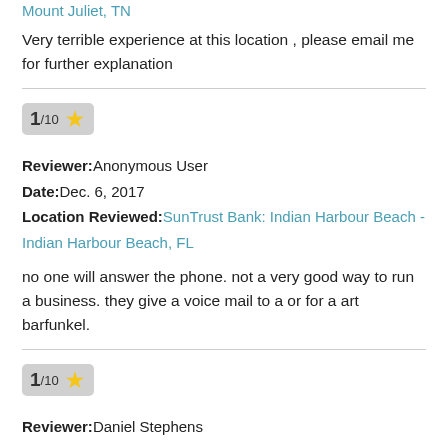Mount Juliet, TN
Very terrible experience at this location , please email me for further explanation
1/10 ★
Reviewer: Anonymous User
Date: Dec. 6, 2017
Location Reviewed: SunTrust Bank: Indian Harbour Beach - Indian Harbour Beach, FL
no one will answer the phone. not a very good way to run a business. they give a voice mail to a or for a art barfunkel.
1/10 ★
Reviewer: Daniel Stephens
Date: Oct. 2, 2017
Location Reviewed: SunTrust Bank: 41st Street Branch - Savannah, GA
What's the point in having a banking app when 70% of